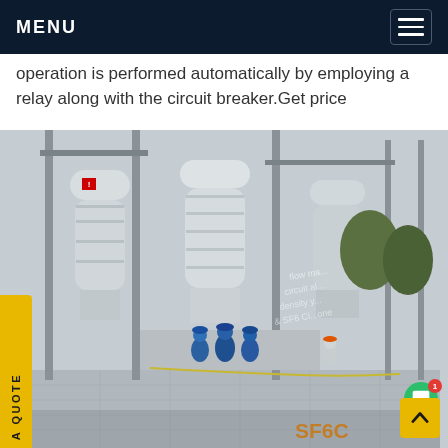MENU
operation is performed automatically by employing a relay along with the circuit breaker.Get price
[Figure (photo): Outdoor electrical substation with large SF6 circuit breakers and high-voltage equipment. Workers in blue coveralls and hard hats are visible walking through the substation yard. Large cylindrical gas-insulated switchgear components are visible along with metal support structures and gantries.]
SF6C